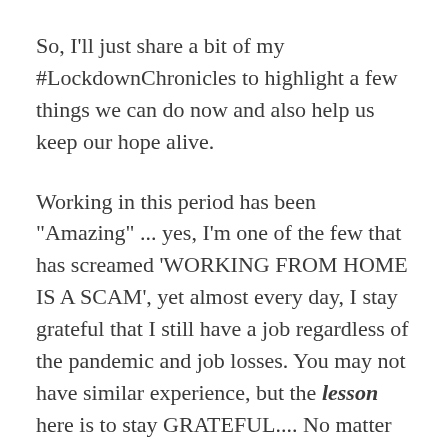So, I'll just share a bit of my #LockdownChronicles to highlight a few things we can do now and also help us keep our hope alive.
Working in this period has been "Amazing" ... yes, I'm one of the few that has screamed 'WORKING FROM HOME IS A SCAM', yet almost every day, I stay grateful that I still have a job regardless of the pandemic and job losses. You may not have similar experience, but the lesson here is to stay GRATEFUL.... No matter how small you think it is, stay grateful and watch as your hope stays alive.
I allowed myself breathe in this season, yes, I